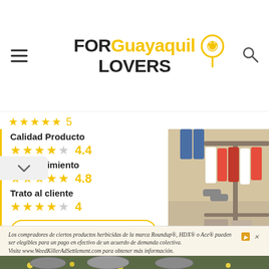FOR Guayaquil LOVERS
Calidad Producto 4.4
Establecimiento 4.8
Trato al cliente 4
[Figure (photo): Interior of a clothing store with garments hanging on racks]
CÓMO LLEGAR
LLAMAR
Los compradores de ciertos productos herbicidas de la marca Roundup®, HDX® o Ace® pueden ser elegibles para un pago en efectivo de un acuerdo de demanda colectiva. Visite www.WeedKillerAdSettlement.com para obtener más información.